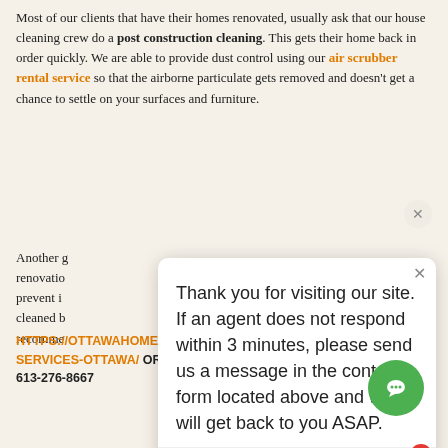Most of our clients that have their homes renovated, usually ask that our house cleaning crew do a post construction cleaning. This gets their home back in order quickly. We are able to provide dust control using our air scrubber rental service so that the airborne particulate gets removed and doesn't get a chance to settle on your surfaces and furniture.
Another g[ood reason for having a] renovatio[n...] prevent i[s...] cleaned b[y...] recomme[nded...]
[Figure (screenshot): Chat popup overlay with message: Thank you for visiting our site. If an agent does not respond within 3 minutes, please send us a message in the contact form located above and we will get back to you ASAP. Customer Support - just now]
HTTPS://OTTAWAHOMESERVICESGROUP.COM/HOME-CLEANING-SERVICES-OTTAWA/ OR CALL US DIRECTLY 613-276-8667